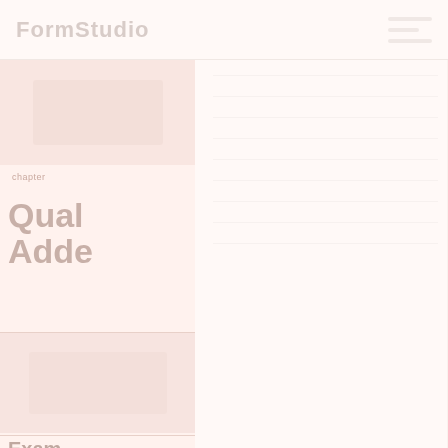FormStudio
[Figure (screenshot): Application UI screenshot showing a software interface with sidebar navigation, main content area with grid lines, and form studio branding. Very faint/washed out appearance with light pink-white tones. Sidebar contains thumbnail previews and section labels including 'Qual', 'Adde', and 'Exam...' text fragments.]